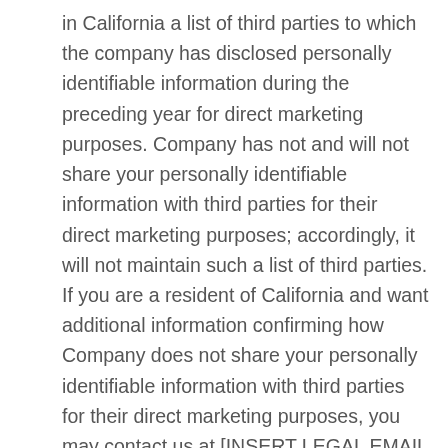in California a list of third parties to which the company has disclosed personally identifiable information during the preceding year for direct marketing purposes. Company has not and will not share your personally identifiable information with third parties for their direct marketing purposes; accordingly, it will not maintain such a list of third parties. If you are a resident of California and want additional information confirming how Company does not share your personally identifiable information with third parties for their direct marketing purposes, you may contact us at [INSERT LEGAL EMAIL ADDRESS] with the words “California Privacy” in the subject line of your email.